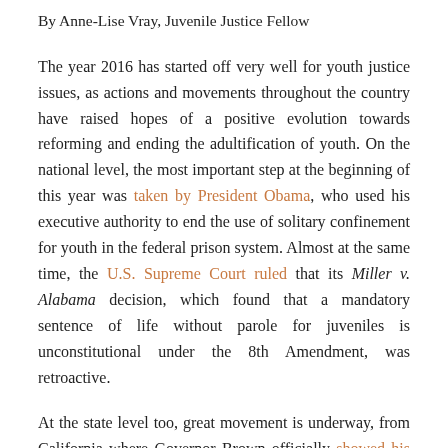By Anne-Lise Vray, Juvenile Justice Fellow
The year 2016 has started off very well for youth justice issues, as actions and movements throughout the country have raised hopes of a positive evolution towards reforming and ending the adultification of youth. On the national level, the most important step at the beginning of this year was taken by President Obama, who used his executive authority to end the use of solitary confinement for youth in the federal prison system. Almost at the same time, the U.S. Supreme Court ruled that its Miller v. Alabama decision, which found that a mandatory sentence of life without parole for juveniles is unconstitutional under the 8th Amendment, was retroactive.
At the state level too, great movement is underway, from California where Governor Brown officially showed his support for a sentencing reform referendum that would include ending direct file, to Wisconsin where a report recommending raising the age of juvenile jurisdiction has just been released. Legislation in Wisconsin to do just that is pending. Earlier this month, another report, authorized by the Louisiana legislature, analyzed the